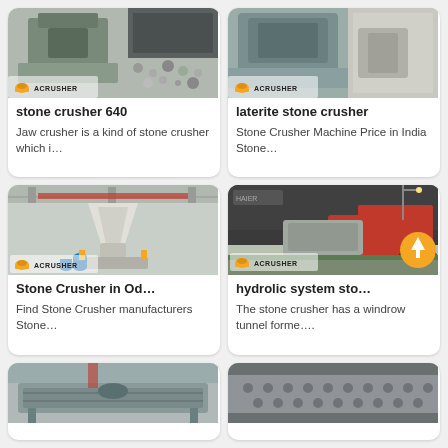[Figure (photo): Stone crusher machine (Acrusher branded) with crushed stone/gravel in industrial setting]
stone crusher 640
Jaw crusher is a kind of stone crusher which i…
[Figure (photo): Laterite stone crusher machine (Acrusher branded) industrial setting]
laterite stone crusher
Stone Crusher Machine Price in India Stone…
[Figure (photo): Large cone/VSI stone crusher (Acrusher) in factory warehouse]
Stone Crusher in Od…
Find Stone Crusher manufacturers Stone…
[Figure (photo): Mobile stone crusher on truck (Acrusher) in outdoor industrial yard with red truck]
hydrolic system sto…
The stone crusher has a windrow tunnel forme….
[Figure (photo): Vibrating screen / crusher equipment in factory]
[Figure (photo): Perforated metal plate / screen panel close-up]